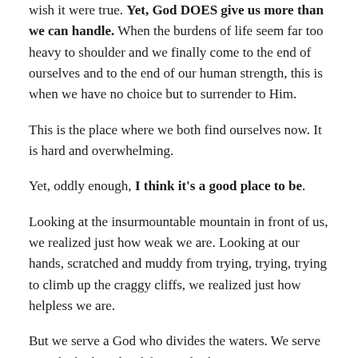wish it were true. Yet, God DOES give us more than we can handle. When the burdens of life seem far too heavy to shoulder and we finally come to the end of ourselves and to the end of our human strength, this is when we have no choice but to surrender to Him.
This is the place where we both find ourselves now. It is hard and overwhelming.
Yet, oddly enough, I think it's a good place to be.
Looking at the insurmountable mountain in front of us, we realized just how weak we are. Looking at our hands, scratched and muddy from trying, trying, trying to climb up the craggy cliffs, we realized just how helpless we are.
But we serve a God who divides the waters. We serve a God who breathes life into dry bones. We serve a God who walks on